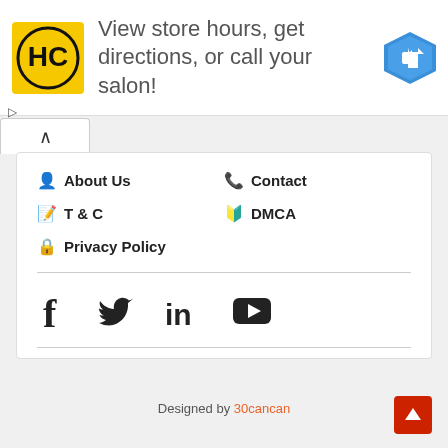[Figure (infographic): Advertisement banner with HC salon logo, text 'View store hours, get directions, or call your salon!', and a blue navigation arrow icon. Small play and close (X) controls on the left.]
About Us
Contact
T & C
DMCA
Privacy Policy
[Figure (infographic): Social media icons row: Facebook (f), Twitter (bird), LinkedIn (in), YouTube (play button)]
Designed by 30cancan